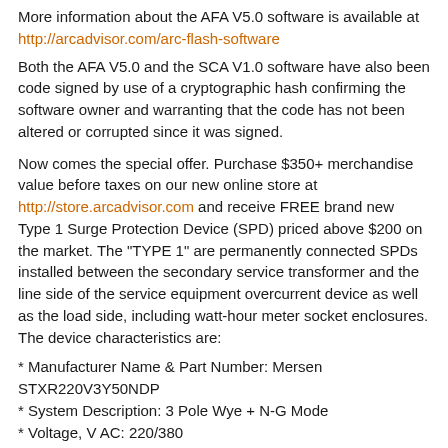More information about the AFA V5.0 software is available at http://arcadvisor.com/arc-flash-software
Both the AFA V5.0 and the SCA V1.0 software have also been code signed by use of a cryptographic hash confirming the software owner and warranting that the code has not been altered or corrupted since it was signed.
Now comes the special offer. Purchase $350+ merchandise value before taxes on our new online store at http://store.arcadvisor.com and receive FREE brand new Type 1 Surge Protection Device (SPD) priced above $200 on the market. The "TYPE 1" are permanently connected SPDs installed between the secondary service transformer and the line side of the service equipment overcurrent device as well as the load side, including watt-hour meter socket enclosures. The device characteristics are:
* Manufacturer Name & Part Number: Mersen STXR220V3Y50NDP
* System Description: 3 Pole Wye + N-G Mode
* Voltage, V AC: 220/380